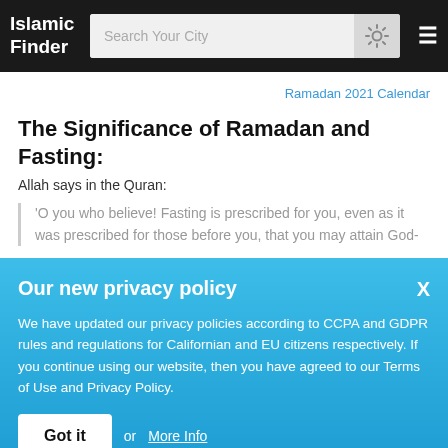Islamic Finder | Search Your City
Ramadan 2021 Calendar
The Significance of Ramadan and Fasting:
Allah says in the Quran:
'O you who believe! Fasting is prescribed for you, even as it was prescribed for those before you, that you may attain God-
Our new privacy policy
We have updated our privacy policies according to CCPA and GDPR rules and regulations for Californian and EU citizens respectively. If you continue using our website, then you have agreed to our Terms of Use and Privacy Policy.
Got it or More Info